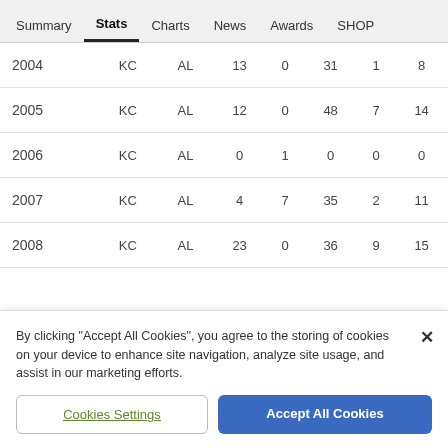Summary  Stats  Charts  News  Awards  SHOP
| 2004 | KC | AL | 13 | 0 | 31 | 1 | 8 |
| 2005 | KC | AL | 12 | 0 | 48 | 7 | 14 |
| 2006 | KC | AL | 0 | 1 | 0 | 0 | 0 |
| 2007 | KC | AL | 4 | 7 | 35 | 2 | 11 |
| 2008 | KC | AL | 23 | 0 | 36 | 9 | 15 |
By clicking "Accept All Cookies", you agree to the storing of cookies on your device to enhance site navigation, analyze site usage, and assist in our marketing efforts.
Cookies Settings
Accept All Cookies